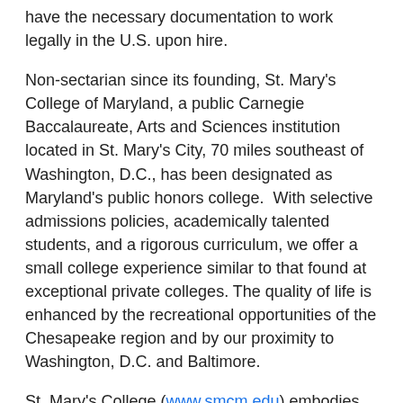have the necessary documentation to work legally in the U.S. upon hire.
Non-sectarian since its founding, St. Mary's College of Maryland, a public Carnegie Baccalaureate, Arts and Sciences institution located in St. Mary's City, 70 miles southeast of Washington, D.C., has been designated as Maryland's public honors college.  With selective admissions policies, academically talented students, and a rigorous curriculum, we offer a small college experience similar to that found at exceptional private colleges. The quality of life is enhanced by the recreational opportunities of the Chesapeake region and by our proximity to Washington, D.C. and Baltimore.
St. Mary's College (www.smcm.edu) embodies diversity and inclusion in its mission.  We create an environment that recognizes the value of individual and group differences and we encourage inquiries from applicants who will contribute to our cultural and ethnic diversity.
Application Instructions